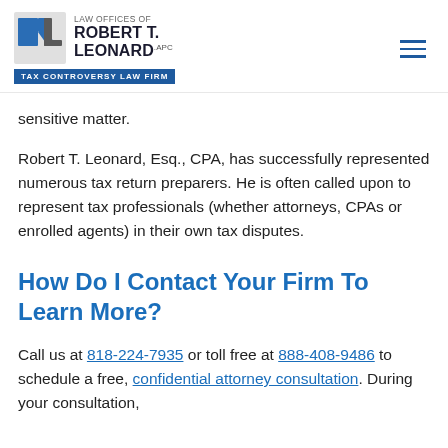LAW OFFICES OF ROBERT T. LEONARD, APC — TAX CONTROVERSY LAW FIRM
sensitive matter.
Robert T. Leonard, Esq., CPA, has successfully represented numerous tax return preparers. He is often called upon to represent tax professionals (whether attorneys, CPAs or enrolled agents) in their own tax disputes.
How Do I Contact Your Firm To Learn More?
Call us at 818-224-7935 or toll free at 888-408-9486 to schedule a free, confidential attorney consultation. During your consultation,